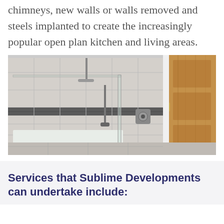chimneys, new walls or walls removed and steels implanted to create the increasingly popular open plan kitchen and living areas.
[Figure (photo): Interior photo of a modern walk-in shower with grey stone-effect tiles, a glass panel, handheld shower head, and a wooden door visible on the right side.]
Services that Sublime Developments can undertake include: